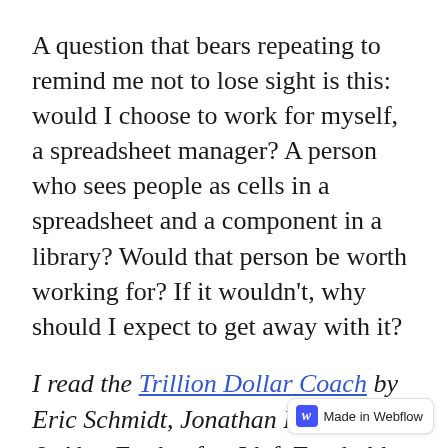A question that bears repeating to remind me not to lose sight is this: would I choose to work for myself, a spreadsheet manager? A person who sees people as cells in a spreadsheet and a component in a library? Would that person be worth working for? If it wouldn't, why should I expect to get away with it?
I read the Trillion Dollar Coach by Eric Schmidt, Jonathan Rosenberg, & Alan Eagle after I left Teachable, but it reiterated a lot of what I already believed: teams are about